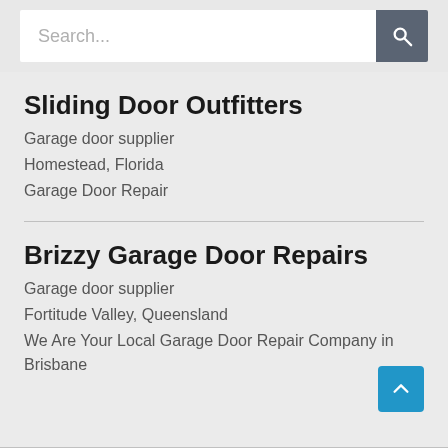[Figure (screenshot): Search bar with placeholder text 'Search...' and a dark grey search button with magnifying glass icon]
Sliding Door Outfitters
Garage door supplier
Homestead, Florida
Garage Door Repair
Brizzy Garage Door Repairs
Garage door supplier
Fortitude Valley, Queensland
We Are Your Local Garage Door Repair Company in Brisbane